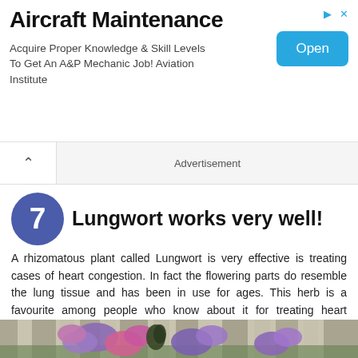[Figure (other): Advertisement banner for Aircraft Maintenance course with Open button]
Advertisement
7 Lungwort works very well!
A rhizomatous plant called Lungwort is very effective is treating cases of heart congestion. In fact the flowering parts do resemble the lung tissue and has been in use for ages. This herb is a favourite among people who know about it for treating heart congestion disorders.
[Figure (photo): Photo of purple/pink Lungwort flowers (Pulmonaria) blooming in a forest with blurred background]